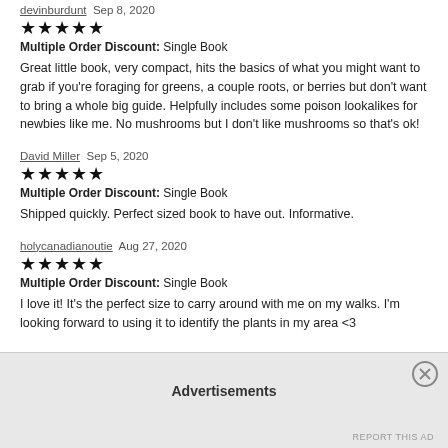devinburdunt  Sep 8, 2020
[Figure (other): 5 filled black stars rating]
Multiple Order Discount: Single Book
Great little book, very compact, hits the basics of what you might want to grab if you're foraging for greens, a couple roots, or berries but don't want to bring a whole big guide. Helpfully includes some poison lookalikes for newbies like me. No mushrooms but I don't like mushrooms so that's ok!
David Miller  Sep 5, 2020
[Figure (other): 5 filled black stars rating]
Multiple Order Discount: Single Book
Shipped quickly. Perfect sized book to have out. Informative.
holycanadianoutie  Aug 27, 2020
[Figure (other): 5 filled black stars rating]
Multiple Order Discount: Single Book
I love it! It's the perfect size to carry around with me on my walks. I'm looking forward to using it to identify the plants in my area <3
Advertisements
REPORT THIS AD